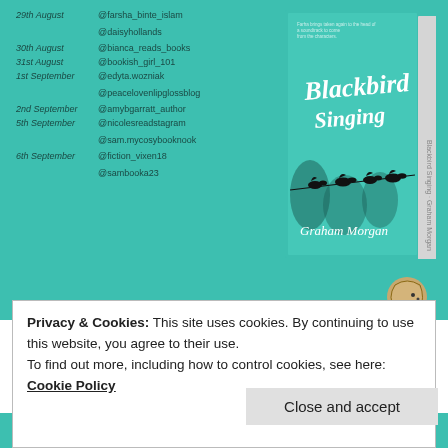[Figure (illustration): Teal background blog tour schedule listing dates and social media handles alongside a book cover for 'Blackbird Singing' by Graham Morgan, featuring birds on a wire silhouette design.]
[Figure (illustration): Partially visible teal section with large faded text and a hedgehog illustration peeking from the right.]
Privacy & Cookies: This site uses cookies. By continuing to use this website, you agree to their use.
To find out more, including how to control cookies, see here: Cookie Policy
Close and accept
13th September   @Malloch_books